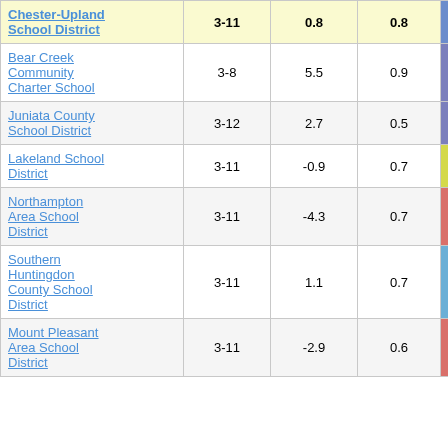| School/District | Grades | Change | S.E. | Score |
| --- | --- | --- | --- | --- |
| Chester-Upland School District | 3-11 | 0.8 | 0.8 | 1.05 |
| Bear Creek Community Charter School | 3-8 | 5.5 | 0.9 | 6.44 |
| Juniata County School District | 3-12 | 2.7 | 0.5 | 5.68 |
| Lakeland School District | 3-11 | -0.9 | 0.7 | -1.28 |
| Northampton Area School District | 3-11 | -4.3 | 0.7 | -6.25 |
| Southern Huntingdon County School District | 3-11 | 1.1 | 0.7 | 1.58 |
| Mount Pleasant Area School District | 3-11 | -2.9 | 0.6 | -5.11 |